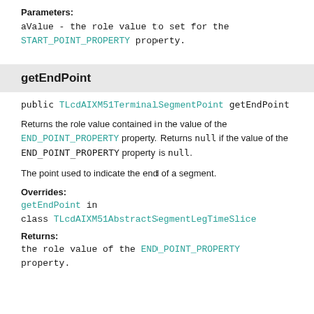Parameters:
aValue - the role value to set for the START_POINT_PROPERTY property.
getEndPoint
public TLcdAIXM51TerminalSegmentPoint getEndPoint
Returns the role value contained in the value of the END_POINT_PROPERTY property. Returns null if the value of the END_POINT_PROPERTY property is null.
The point used to indicate the end of a segment.
Overrides:
getEndPoint in class TLcdAIXM51AbstractSegmentLegTimeSlice
Returns:
the role value of the END_POINT_PROPERTY property.